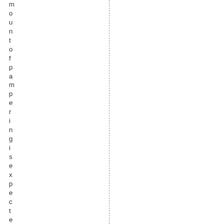m o u n t o f p a m p e r i n g i s e x p e c t e d a n d e